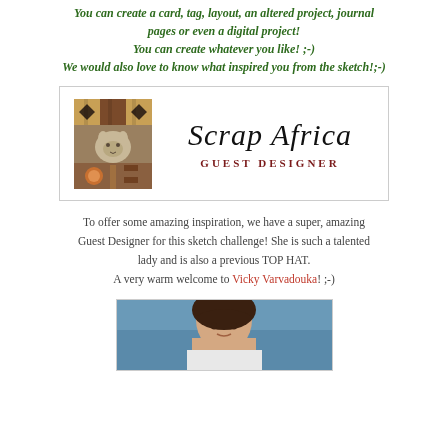You can create a card, tag, layout, an altered project, journal pages or even a digital project! You can create whatever you like! ;-) We would also love to know what inspired you from the sketch!;-)
[Figure (logo): Scrap Africa Guest Designer badge with African textile/elephant image on left and cursive 'Scrap Africa' text with 'Guest Designer' in small caps on right]
To offer some amazing inspiration, we have a super, amazing Guest Designer for this sketch challenge! She is such a talented lady and is also a previous TOP HAT. A very warm welcome to Vicky Varvadouka! ;-)
[Figure (photo): Photo of a woman with dark hair outdoors near water]